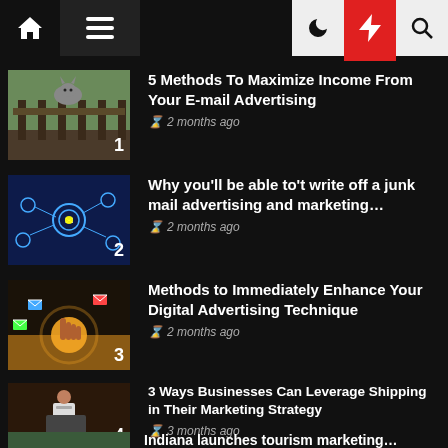Navigation bar with home, menu, moon, bolt, search icons
5 Methods To Maximize Income From Your E-mail Advertising — 2 months ago
Why you'll be able to't write off a junk mail advertising and marketing… — 2 months ago
Methods to Immediately Enhance Your Digital Advertising Technique — 2 months ago
3 Ways Businesses Can Leverage Shipping in Their Marketing Strategy — 3 months ago
Indiana launches tourism marketing…